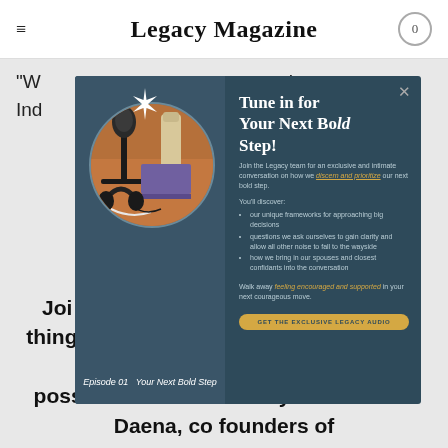Legacy Magazine
"W... he Ind... el a
[Figure (screenshot): Modal popup overlay on Legacy Magazine website showing a podcast episode promotion for 'Your Next Bold Step' (Episode 01) with a circular image of a podcast microphone setup, star burst graphic, and episode label text.]
Tune in for Your Next Bold Step!
Join the Legacy team for an exclusive and intimate conversation on how we discern and prioritize our next bold step.
You'll discover:
our unique frameworks for approaching big decisions
questions we ask ourselves to gain clarity and allow all other noise to fall to the wayside
how we bring in our spouses and closest confidants into the conversation
Walk away feeling encouraged and supported in your next courageous move.
GET THE EXCLUSIVE LEGACY AUDIO
Joi... ble things you can do to make sure you are in the best mental space possible to tackle military life. Abi and Daena, co founders of